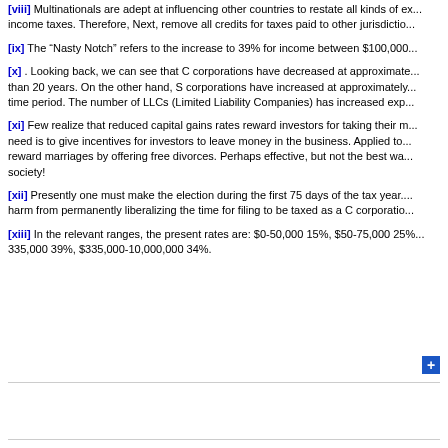[viii] Multinationals are adept at influencing other countries to restate all kinds of ex... income taxes. Therefore, Next, remove all credits for taxes paid to other jurisdictio...
[ix] The “Nasty Notch” refers to the increase to 39% for income between $100,000...
[x] . Looking back, we can see that C corporations have decreased at approximate... than 20 years. On the other hand, S corporations have increased at approximately... time period. The number of LLCs (Limited Liability Companies) has increased exp...
[xi] Few realize that reduced capital gains rates reward investors for taking their m... need is to give incentives for investors to leave money in the business. Applied to... reward marriages by offering free divorces. Perhaps effective, but not the best wa... society!
[xii] Presently one must make the election during the first 75 days of the tax year.... harm from permanently liberalizing the time for filing to be taxed as a C corporatio...
[xiii] In the relevant ranges, the present rates are: $0-50,000 15%, $50-75,000 25%... 335,000 39%, $335,000-10,000,000 34%.